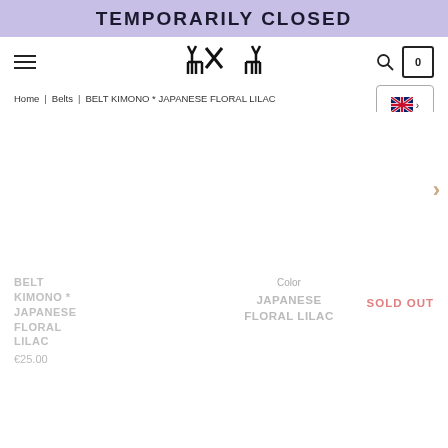TEMPORARILY CLOSED
[Figure (logo): Brand logo with cat-like geometric design in black]
Home | Belts | BELT KIMONO * JAPANESE FLORAL LILAC
[Figure (screenshot): UK flag language selector with chevron]
[Figure (photo): Product image area for belt (empty/not loaded)]
BELT KIMONO * JAPANESE FLORAL LILAC
€25.00
Color
JAPANESE FLORAL LILAC
SOLD OUT